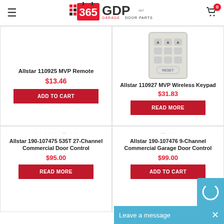365 Garage Door Parts
[Figure (screenshot): Allstar 110925 MVP Remote product card with price $13.46 and Add to Cart button]
[Figure (photo): Allstar 110927 MVP Wireless Keypad product image and card with price $31.83 and Read More button]
[Figure (screenshot): Allstar 190-107475 535T 27-Channel Commercial Door Control product card with price $95.00 and Read More button]
[Figure (screenshot): Allstar 190-107476 9-Channel Commercial Garage Door Control product card with price $99.00 and Add to Cart button]
Leave a message  ✕